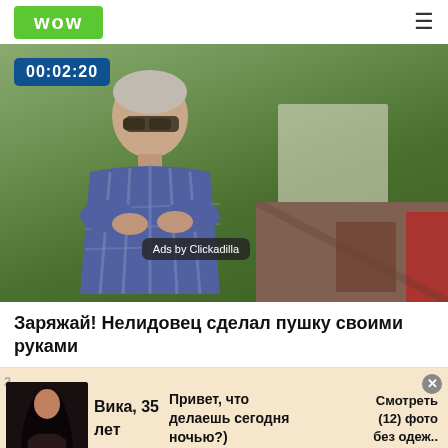WOW ≡
[Figure (screenshot): Video thumbnail showing an elderly man with sunglasses and crossed arms, standing outdoors with green trees and a white building behind him. Timer badge shows 00:02:20. Ad overlay shows 'Ads by Clickadilla' and 'Skip in' button. A secondary video mini-thumbnail appears bottom-right.]
Заряжай! Нелидовец сделал пушку своими руками
[Figure (photo): Ad banner: photo of dark-haired woman on cream background, with text 'Вика, 35 лет', 'Привет, что делаешь сегодня ночью?)', 'Смотреть (12) фото без одеж..']